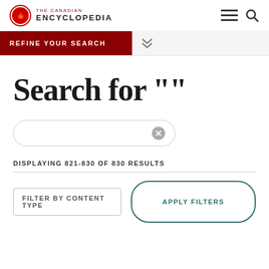THE CANADIAN ENCYCLOPEDIA
REFINE YOUR SEARCH
Search for ""
DISPLAYING 821-830 OF 830 RESULTS
FILTER BY CONTENT TYPE
APPLY FILTERS